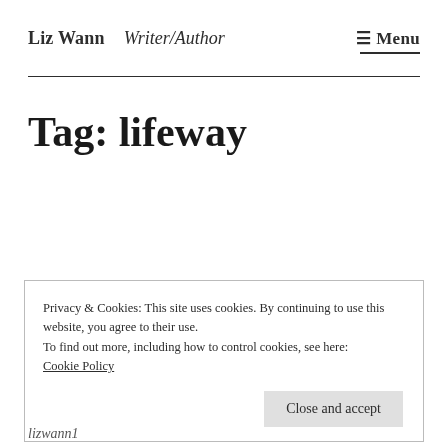Liz Wann  Writer/Author  ☰ Menu
Tag: lifeway
Privacy & Cookies: This site uses cookies. By continuing to use this website, you agree to their use.
To find out more, including how to control cookies, see here:
Cookie Policy
Close and accept
lizwann1